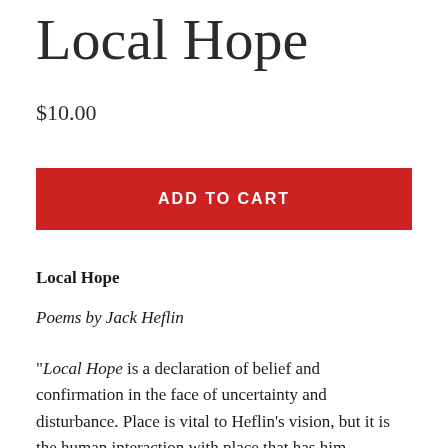Local Hope
$10.00
ADD TO CART
Local Hope
Poems by Jack Heflin
"Local Hope is a declaration of belief and confirmation in the face of uncertainty and disturbance. Place is vital to Heflin's vision, but it is the human interaction with place that has him questioning how we talk about the worlds we inhabit. Heflin troubles over the traumas, contradictions, ennui and pleasures of day-to-day life. The rich word selection, the absolute control of line, and the versatile syntax take the reader into a weird, bizarre, and yet surprisingly familiar crisis of existence. It is a wonderful book